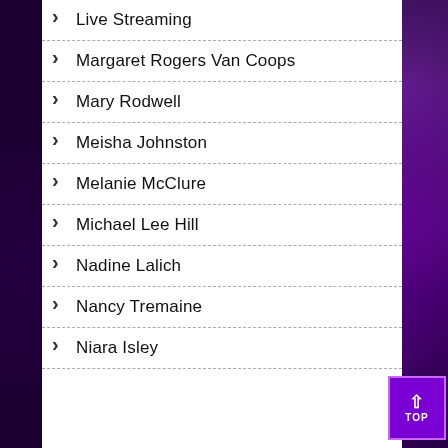Live Streaming
Margaret Rogers Van Coops
Mary Rodwell
Meisha Johnston
Melanie McClure
Michael Lee Hill
Nadine Lalich
Nancy Tremaine
Niara Isley